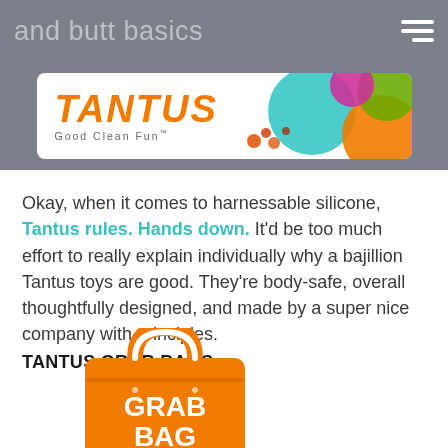and butt basics
[Figure (logo): Tantus 'Good Clean Fun' logo with colorful circles on right side, orange italic wordmark text, on white rounded rectangle background within gray banner]
Okay, when it comes to harnessable silicone, Tantus rules. Hands down. It'd be too much effort to really explain individually why a bajillion Tantus toys are good. They're body-safe, overall thoughtfully designed, and made by a super nice company with principles.
TANTUS GRAB BAGS
[Figure (illustration): Orange shopping bag with GRAB BAG text in white, partial view at bottom of page]